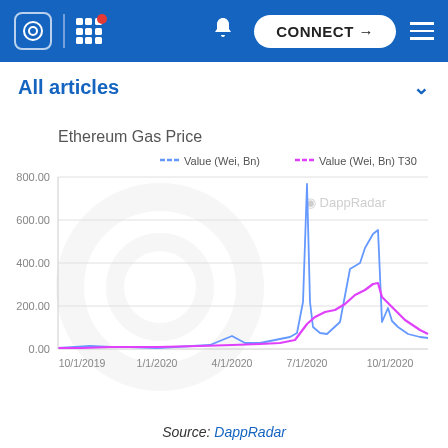CONNECT
All articles
[Figure (line-chart): Ethereum Gas Price]
Source: DappRadar